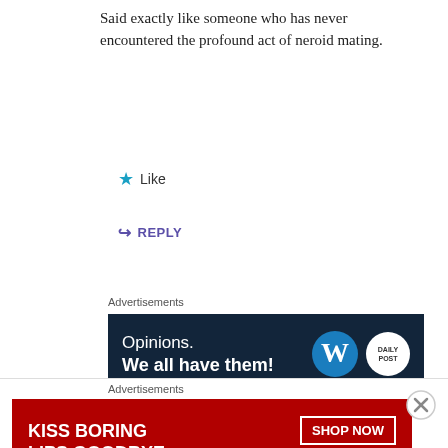Said exactly like someone who has never encountered the profound act of neroid mating.
★ Like
↪ REPLY
Advertisements
[Figure (infographic): Dark navy ad banner: 'Opinions. We all have them!' with WordPress and Daily Post logos on the right.]
REPORT THIS AD
Grayking Ashnova
JUNE 27, 2018 AT 12:51 PM
Advertisements
[Figure (infographic): Red ad banner: 'KISS BORING LIPS GOODBYE' with SHOP NOW button and Macy's logo.]
REPORT THIS AD